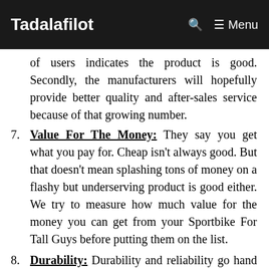Tadalafilot  Menu
of users indicates the product is good. Secondly, the manufacturers will hopefully provide better quality and after-sales service because of that growing number.
7. Value For The Money: They say you get what you pay for. Cheap isn't always good. But that doesn't mean splashing tons of money on a flashy but underserving product is good either. We try to measure how much value for the money you can get from your Sportbike For Tall Guys before putting them on the list.
8. Durability: Durability and reliability go hand to hand. A robust and durable